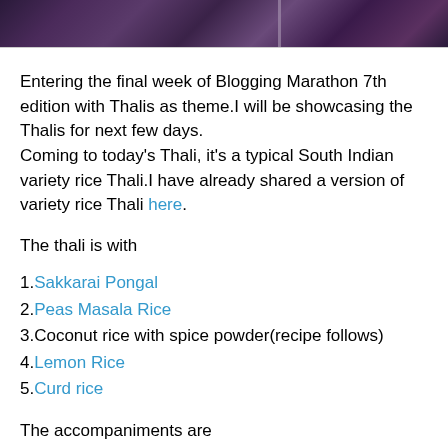[Figure (photo): Partial bottom of a food photograph with dark purple/blue tones, cropped at the top of the page]
Entering the final week of Blogging Marathon 7th edition with Thalis as theme.I will be showcasing the Thalis for next few days.
Coming to today's Thali, it's a typical South Indian variety rice Thali.I have already shared a version of variety rice Thali here.
The thali is with
1.Sakkarai Pongal
2.Peas Masala Rice
3.Coconut rice with spice powder(recipe follows)
4.Lemon Rice
5.Curd rice
The accompaniments are
1.Potato Fry
2.Onion&Tomato Raitha/pachadi
3.Yellow Peas Sundal